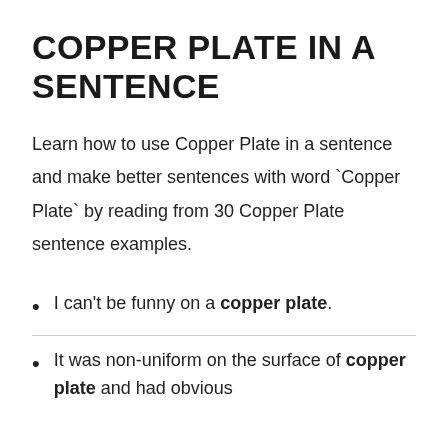COPPER PLATE IN A SENTENCE
Learn how to use Copper Plate in a sentence and make better sentences with word `Copper Plate` by reading from 30 Copper Plate sentence examples.
I can't be funny on a copper plate.
It was non-uniform on the surface of copper plate and had obvious